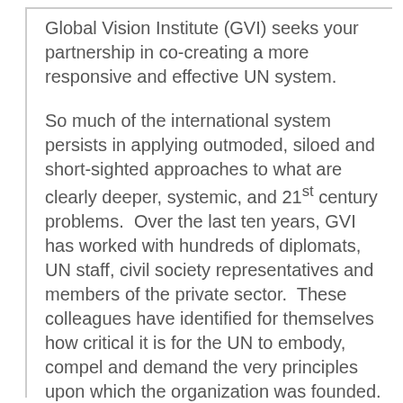Global Vision Institute (GVI) seeks your partnership in co-creating a more responsive and effective UN system.
So much of the international system persists in applying outmoded, siloed and short-sighted approaches to what are clearly deeper, systemic, and 21st century problems.  Over the last ten years, GVI has worked with hundreds of diplomats, UN staff, civil society representatives and members of the private sector.  These colleagues have identified for themselves how critical it is for the UN to embody, compel and demand the very principles upon which the organization was founded. They assert the centrality of the UN's role in representing universal values and an expansive identity. They call for ethics,